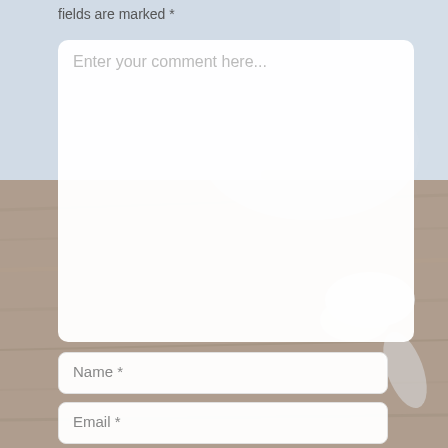fields are marked *
Enter your comment here...
Name *
Email *
Notify me of follow-up comments by email.
Notify me of new posts by email.
Post Comment